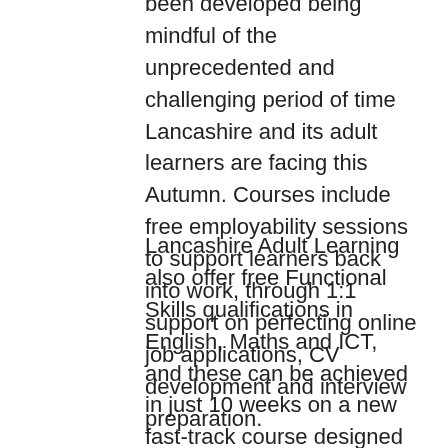been developed being mindful of the unprecedented and challenging period of time Lancashire and its adult learners are facing this Autumn. Courses include free employability sessions to support learners back into work, through 1:1 support on perfecting online job applications, CV development and interview preparation.
Lancashire Adult Learning also offer free Functional Skills qualifications in English, Maths and ICT, and these can be achieved in just 10 weeks on a new fast-track course designed so learners who require these valuable qualifications can achieve at home, and progress quickly. Essential digital skills for everyday life are a highlight feature of the new offer too, enabling